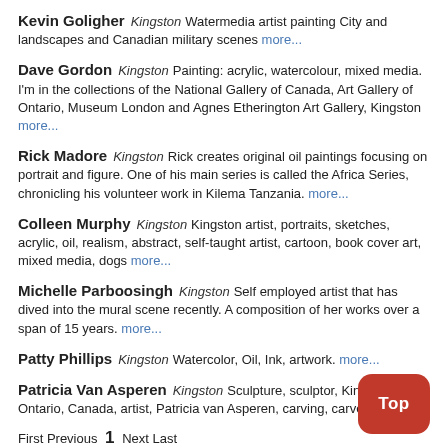Kevin Goligher  Kingston  Watermedia artist painting City and landscapes and Canadian military scenes  more...
Dave Gordon  Kingston  Painting: acrylic, watercolour, mixed media. I'm in the collections of the National Gallery of Canada, Art Gallery of Ontario, Museum London and Agnes Etherington Art Gallery, Kingston  more...
Rick Madore  Kingston  Rick creates original oil paintings focusing on portrait and figure. One of his main series is called the Africa Series, chronicling his volunteer work in Kilema Tanzania.  more...
Colleen Murphy  Kingston  Kingston artist, portraits, sketches, acrylic, oil, realism, abstract, self-taught artist, cartoon, book cover art, mixed media, dogs  more...
Michelle Parboosingh  Kingston  Self employed artist that has dived into the mural scene recently. A composition of her works over a span of 15 years.  more...
Patty Phillips  Kingston  Watercolor, Oil, Ink, artwork.  more...
Patricia Van Asperen  Kingston  Sculpture, sculptor, Kingston, Ontario, Canada, artist, Patricia van Asperen, carving, carver,  more...
First Previous  1  Next Last
Found 14 results, displaying results 1 to 14.